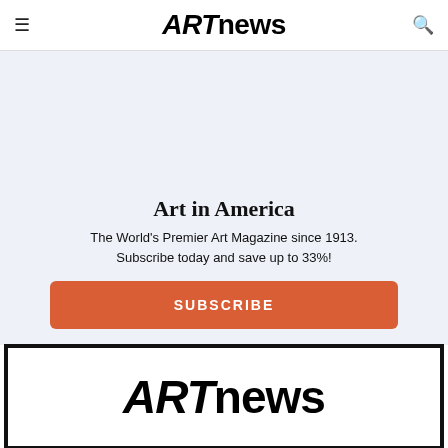ARTnews
[Figure (photo): Magazine cover showing people lying on grass]
Art in America
The World's Premier Art Magazine since 1913. Subscribe today and save up to 33%!
SUBSCRIBE
[Figure (logo): ARTnews logo in large bold black text inside a thick black border rectangle]